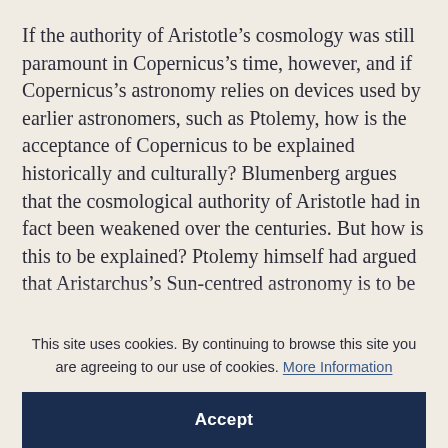If the authority of Aristotle's cosmology was still paramount in Copernicus's time, however, and if Copernicus's astronomy relies on devices used by earlier astronomers, such as Ptolemy, how is the acceptance of Copernicus to be explained historically and culturally? Blumenberg argues that the cosmological authority of Aristotle had in fact been weakened over the centuries. But how is this to be explained? Ptolemy himself had argued that Aristarchus's Sun-centred astronomy is to be...
This site uses cookies. By continuing to browse this site you are agreeing to our use of cookies. More Information
Accept